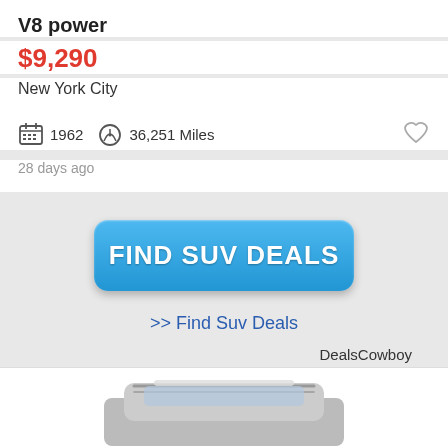V8 power
$9,290
New York City
1962  36,251 Miles
28 days ago
[Figure (other): Blue rounded button labeled FIND SUV DEALS]
>> Find Suv Deals
DealsCowboy
[Figure (photo): Partial view of an SUV vehicle, showing the rear roofline and roof rails]